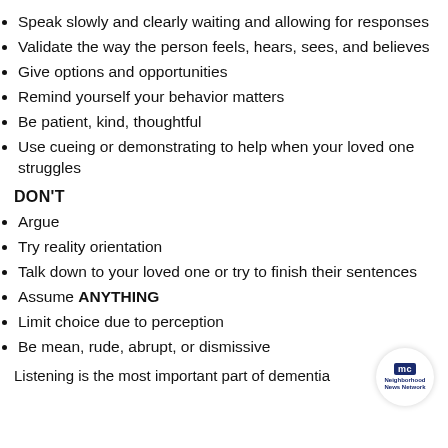Speak slowly and clearly waiting and allowing for responses
Validate the way the person feels, hears, sees, and believes
Give options and opportunities
Remind yourself your behavior matters
Be patient, kind, thoughtful
Use cueing or demonstrating to help when your loved one struggles
DON'T
Argue
Try reality orientation
Talk down to your loved one or try to finish their sentences
Assume ANYTHING
Limit choice due to perception
Be mean, rude, abrupt, or dismissive
Listening is the most important part of dementia